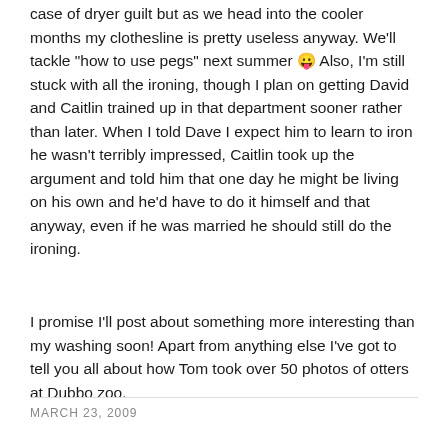case of dryer guilt but as we head into the cooler months my clothesline is pretty useless anyway. We'll tackle "how to use pegs" next summer 😛 Also, I'm still stuck with all the ironing, though I plan on getting David and Caitlin trained up in that department sooner rather than later. When I told Dave I expect him to learn to iron he wasn't terribly impressed, Caitlin took up the argument and told him that one day he might be living on his own and he'd have to do it himself and that anyway, even if he was married he should still do the ironing.
I promise I'll post about something more interesting than my washing soon! Apart from anything else I've got to tell you all about how Tom took over 50 photos of otters at Dubbo zoo.
MARCH 23, 2009